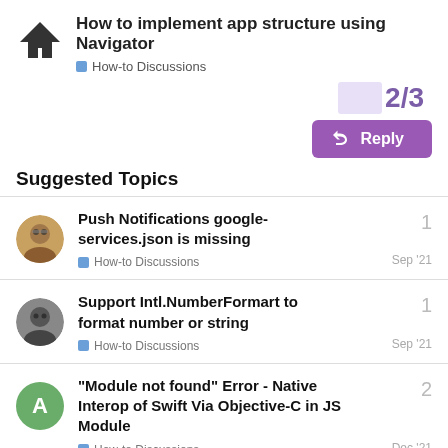How to implement app structure using Navigator
How-to Discussions
2/3
Reply
Suggested Topics
Push Notifications google-services.json is missing
How-to Discussions
1
Sep '21
Support Intl.NumberFormart to format number or string
How-to Discussions
1
Sep '21
"Module not found" Error - Native Interop of Swift Via Objective-C in JS Module
How-to Discussions
2
Dec '21